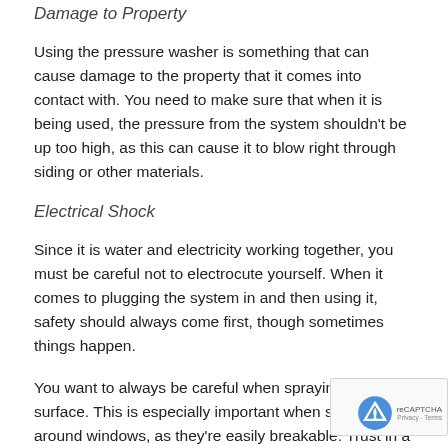Damage to Property
Using the pressure washer is something that can cause damage to the property that it comes into contact with. You need to make sure that when it is being used, the pressure from the system shouldn’t be up too high, as this can cause it to blow right through siding or other materials.
Electrical Shock
Since it is water and electricity working together, you must be careful not to electrocute yourself. When it comes to plugging the system in and then using it, safety should always come first, though sometimes things happen.
You want to always be careful when spraying down any surface. This is especially important when spraying around windows, as they’re easily breakable. Trust in a professional if you have something that requires the use